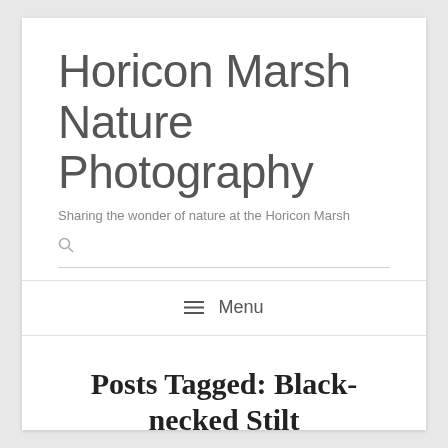Horicon Marsh Nature Photography
Sharing the wonder of nature at the Horicon Marsh
≡ Menu
Posts Tagged: Black-necked Stilt